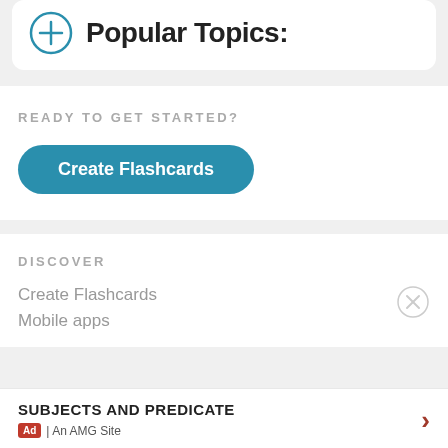[Figure (illustration): Partial view of a card with a blue circle plus icon and bold text 'Popular Topics:' cut off at top]
READY TO GET STARTED?
[Figure (other): Blue rounded button labeled 'Create Flashcards']
DISCOVER
Create Flashcards
Mobile apps
SUBJECTS AND PREDICATE
Ad | An AMG Site